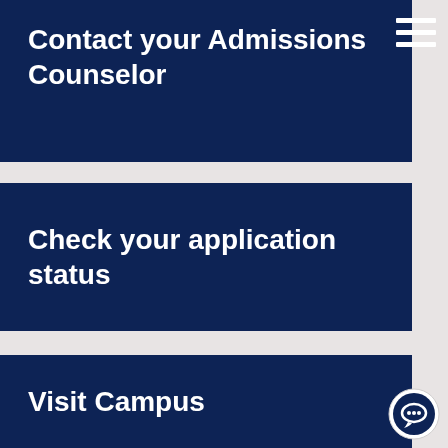[Figure (screenshot): Hamburger menu icon (three horizontal white lines) in top right corner]
Contact your Admissions Counselor
Check your application status
Visit Campus
[Figure (illustration): Chat bubble icon in bottom right corner]